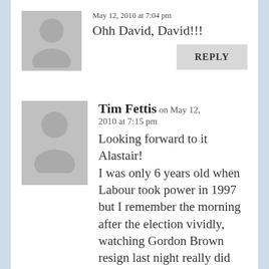May 12, 2010 at 7:04 pm
Ohh David, David!!!
REPLY
Tim Fettis on May 12, 2010 at 7:15 pm
Looking forward to it Alastair!
I was only 6 years old when Labour took power in 1997 but I remember the morning after the election vividly, watching Gordon Brown resign last night really did seem as though an era was